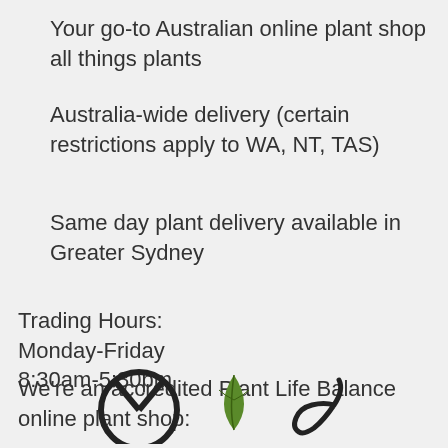Your go-to Australian online plant shop all things plants
Australia-wide delivery (certain restrictions apply to WA, NT, TAS)
Same day plant delivery available in Greater Sydney
Trading Hours:
Monday-Friday
8:30am-5:30pm
We're an accredited Plant Life Balance online plant shop:
[Figure (logo): Plant Life Balance logo elements — circular logo mark, leaf icon, and script text logo]